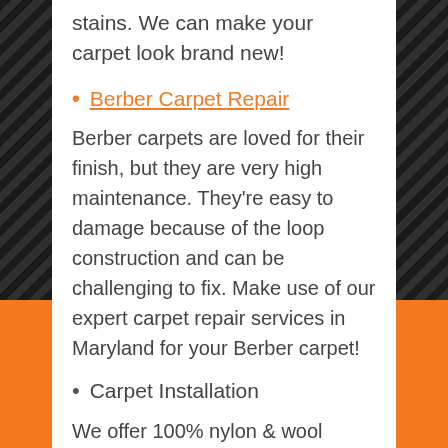stains. We can make your carpet look brand new!
Berber Carpet Repair
Berber carpets are loved for their finish, but they are very high maintenance. They're easy to damage because of the loop construction and can be challenging to fix. Make use of our expert carpet repair services in Maryland for your Berber carpet!
Carpet Installation
We offer 100% nylon & wool carpet from the largest carpet manufacturers, Mohawk and Shaw. We follow the manufacturers